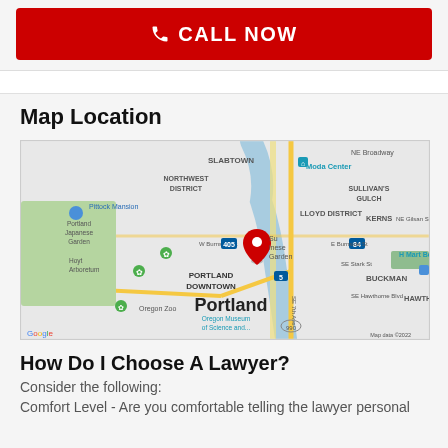[Figure (other): Red call now button with phone icon]
Map Location
[Figure (map): Google Map showing Portland, Oregon area with a red location pin near Portland Japanese Garden / Su Chinese Garden area. Visible neighborhoods include Slabtown, Northwest District, Lloyd District, Sullivan's Gulch, Kerns, Portland Downtown, Buckman, Hawthorn. Landmarks include Pittock Mansion, Portland Japanese Garden, Hoyt Arboretum, Oregon Zoo, Moda Center, H Mart Belmont, Oregon Museum of Science and... Map data ©2022]
How Do I Choose A Lawyer?
Consider the following:
Comfort Level - Are you comfortable telling the lawyer personal